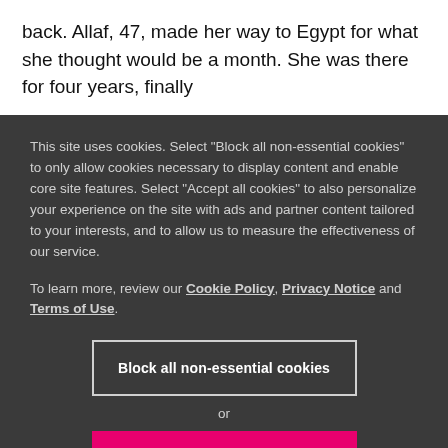back. Allaf, 47, made her way to Egypt for what she thought would be a month. She was there for four years, finally
This site uses cookies. Select "Block all non-essential cookies" to only allow cookies necessary to display content and enable core site features. Select "Accept all cookies" to also personalize your experience on the site with ads and partner content tailored to your interests, and to allow us to measure the effectiveness of our service.
To learn more, review our Cookie Policy, Privacy Notice and Terms of Use.
Block all non-essential cookies
or
Accept all cookies